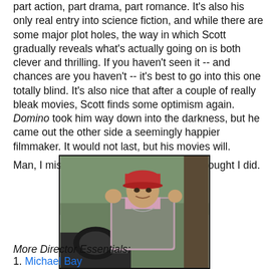part action, part drama, part romance. It's also his only real entry into science fiction, and while there are some major plot holes, the way in which Scott gradually reveals what's actually going on is both clever and thrilling. If you haven't seen it -- and chances are you haven't -- it's best to go into this one totally blind. It's also nice that after a couple of really bleak movies, Scott finds some optimism again. Domino took him way down into the darkness, but he came out the other side a seemingly happier filmmaker. It would not last, but his movies will.

Man, I miss Tony Scott way more than I thought I did.
[Figure (photo): Photo of Tony Scott wearing a red cap and gray vest, gesturing with both hands raised, standing near camera equipment and a tree.]
More Director Essentials:
1. Michael Bay